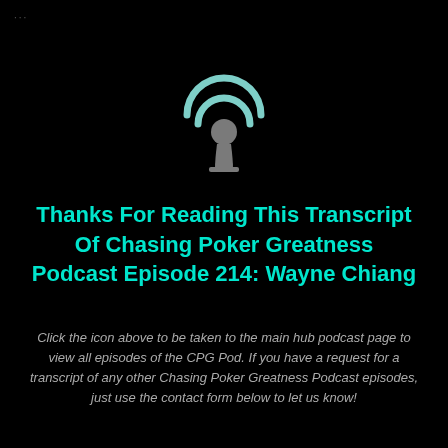[Figure (logo): Podcast microphone/signal icon in teal/gray color on black background]
Thanks For Reading This Transcript Of Chasing Poker Greatness Podcast Episode 214: Wayne Chiang
Click the icon above to be taken to the main hub podcast page to view all episodes of the CPG Pod. If you have a request for a transcript of any other Chasing Poker Greatness Podcast episodes, just use the contact form below to let us know!